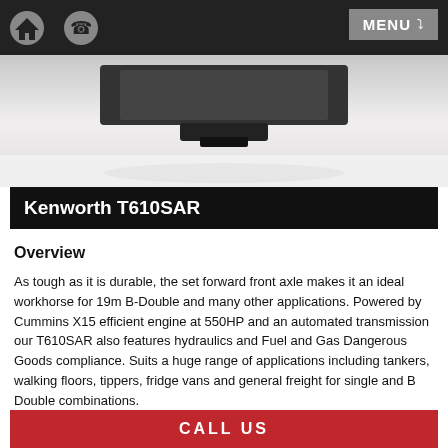MENU
[Figure (photo): Rear view of a Kenworth T610SAR truck on a white/grey background]
Kenworth T610SAR
Overview
As tough as it is durable, the set forward front axle makes it an ideal workhorse for 19m B-Double and many other applications. Powered by Cummins X15 efficient engine at 550HP and an automated transmission our T610SAR also features hydraulics and Fuel and Gas Dangerous Goods compliance. Suits a huge range of applications including tankers, walking floors, tippers, fridge vans and general freight for single and B Double combinations.
CALL US